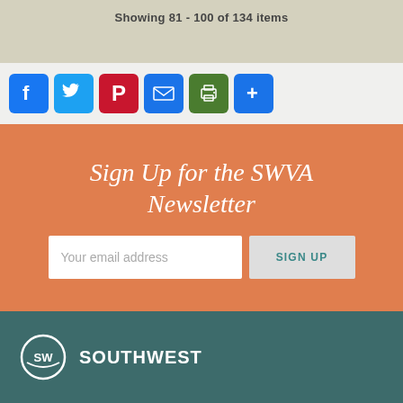Showing 81 - 100 of 134 items
[Figure (infographic): Social sharing icons: Facebook (blue), Twitter (light blue), Pinterest (red), Email (blue), Print (green), Share (blue)]
Sign Up for the SWVA Newsletter
Your email address
SOUTHWEST